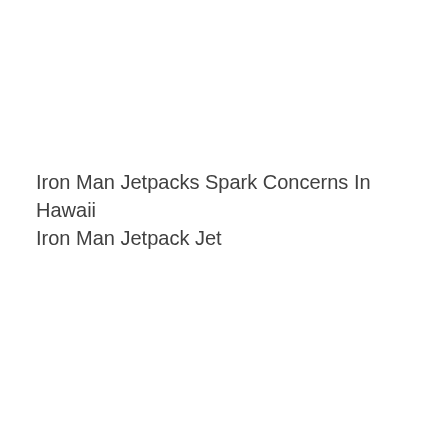Iron Man Jetpacks Spark Concerns In Hawaii Iron Man Jetpack Jet